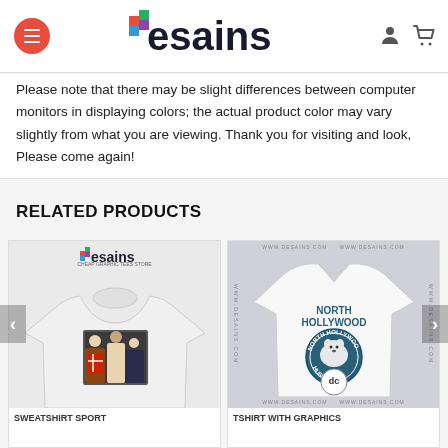desains
Please note that there may be slight differences between computer monitors in displaying colors; the actual product color may vary slightly from what you are viewing. Thank you for visiting and look, Please come again!
RELATED PRODUCTS
[Figure (photo): Product card showing a white sweatshirt sport with a printed graphic photo of people]
SWEATSHIRT SPORT
[Figure (photo): Product card showing a white t-shirt with North Hollywood Huskies graphics logo]
TSHIRT WITH GRAPHICS